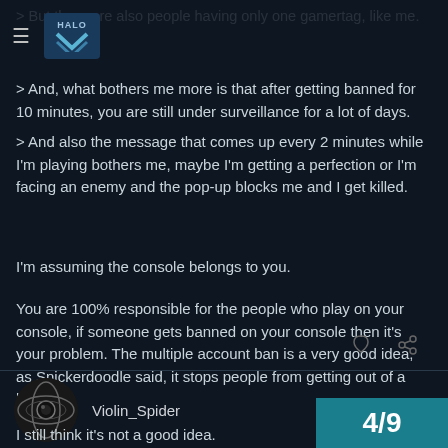[Figure (screenshot): Forum navigation bar with hamburger menu icon and Halo Waypoint logo]
> But there are also people having only one gamertag, like me.
> And, what bothers me more is that after getting banned for 10 minutes, you are still under surveillance for a lot of days.
> And also the message that comes up every 2 minutes while I'm playing bothers me, maybe I'm getting a perfection or I'm facing an enemy and the pop-up blocks me and I get killed.
I'm assuming the console belongs to you.
You are 100% responsible for the people who play on your console, if someone gets banned on your console then it's your problem. The multiple account ban is a very good idea, as Snickerdoodle said, it stops people from getting out of a ban.
Violin_Spider
Jul '12
I still think it's not a good idea.
4/9